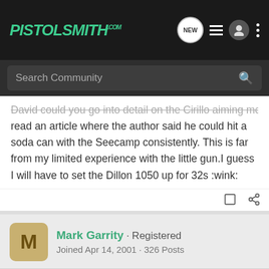[Figure (logo): PistolSmith.com logo in green italic bold text on dark background]
Search Community
David could you go into detail on the Cirillo aiming method? I read an article where the author said he could hit a soda can with the Seecamp consistently. This is far from my limited experience with the little gun.I guess I will have to set the Dillon 1050 up for 32s :wink:
Mark Garrity · Registered
Joined Apr 14, 2001 · 326 Posts
#7 · May 8, 2001
The only problem I ever had with my Seecamp was a bent trigger bar, and i have no idea how it happened. Larry Seecamp